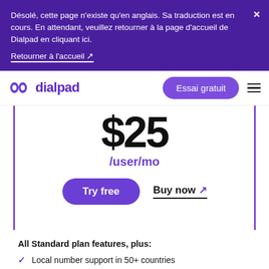Désolé, cette page n'existe qu'en anglais. Sa traduction est en cours. En attendant, veuillez retourner à la page d'accueil de Dialpad en cliquant ici.
Retourner à l'accueil ↗
dialpad — Essai gratuit
$25
/user/mo
Try free  Buy now ↗
All Standard plan features, plus:
Local number support in 50+ countries